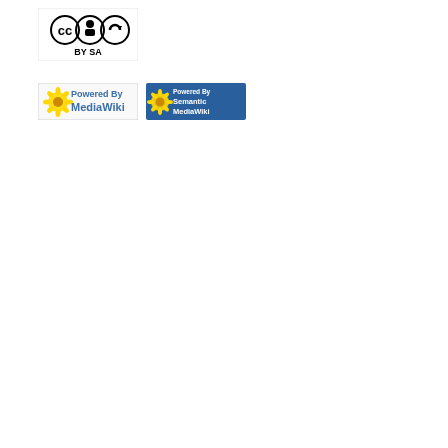[Figure (logo): Creative Commons BY-SA license badge (black and white pixelated style with CC, person, and SA icons, text BY SA at bottom)]
[Figure (logo): Powered By MediaWiki badge (sunflower logo with blue bracket icons and MediaWiki text in blue)]
[Figure (logo): Powered By Semantic MediaWiki badge (blue background with orange sunflower and white text 'Powered By Semantic MediaWiki')]